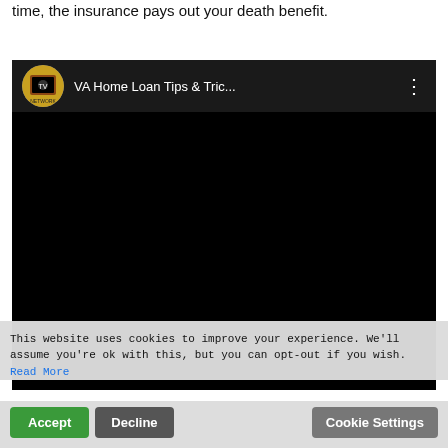time, the insurance pays out your death benefit.
[Figure (screenshot): YouTube video embed with channel icon and title 'VA Home Loan Tips & Tric...' with a three-dot menu icon, video content is a black screen]
This website uses cookies to improve your experience. We'll assume you're ok with this, but you can opt-out if you wish. Read More
Accept  Decline  Cookie Settings